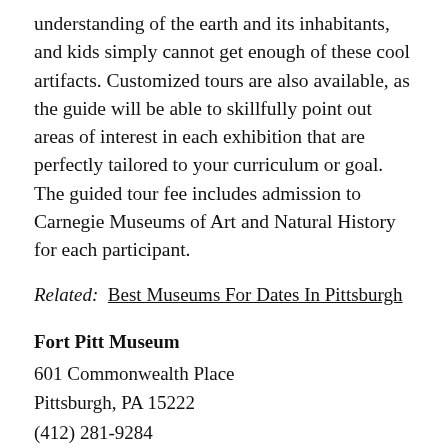understanding of the earth and its inhabitants, and kids simply cannot get enough of these cool artifacts. Customized tours are also available, as the guide will be able to skillfully point out areas of interest in each exhibition that are perfectly tailored to your curriculum or goal. The guided tour fee includes admission to Carnegie Museums of Art and Natural History for each participant.
Related:  Best Museums For Dates In Pittsburgh
Fort Pitt Museum
601 Commonwealth Place
Pittsburgh, PA 15222
(412) 281-9284
www.heinzhistorycenter.org
Located in historic Point State Park downtown, the